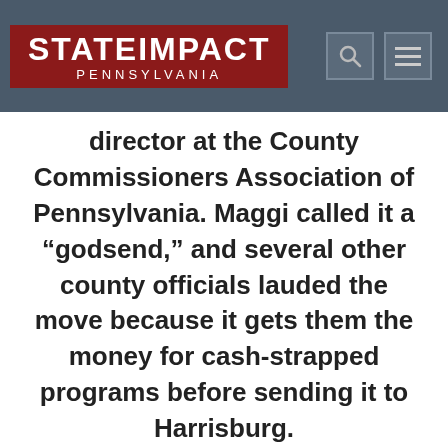StateImpact Pennsylvania
director at the County Commissioners Association of Pennsylvania. Maggi called it a “godsend,” and several other county officials lauded the move because it gets them the money for cash-strapped programs before sending it to Harrisburg.
That county-based system is the only thing new from Corbett’s announcement, Hill said. Most of